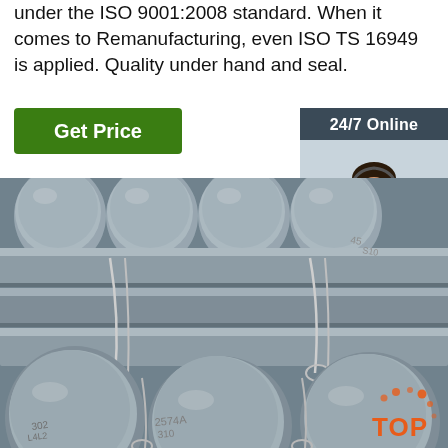under the ISO 9001:2008 standard. When it comes to Remanufacturing, even ISO TS 16949 is applied. Quality under hand and seal.
[Figure (other): Green 'Get Price' button]
[Figure (other): 24/7 Online sidebar widget with female customer service agent photo, 'Click here for free chat!' text, and orange QUOTATION button]
[Figure (photo): Photo of bundled steel round bars/rods stacked together, with wire ties, showing various stamped markings]
[Figure (logo): TOP logo in orange with dot pattern in bottom right corner of page]